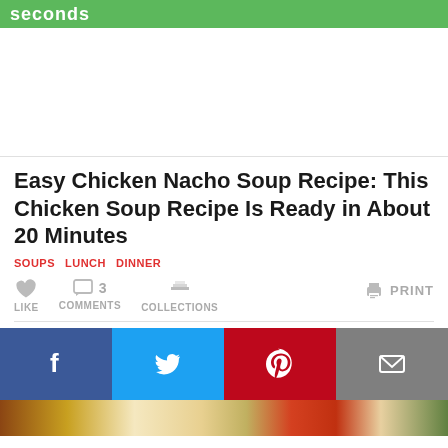seconds
[Figure (other): Advertisement/banner area (white space)]
Easy Chicken Nacho Soup Recipe: This Chicken Soup Recipe Is Ready in About 20 Minutes
SOUPS   LUNCH   DINNER
LIKE   3 COMMENTS   COLLECTIONS   PRINT
[Figure (other): Social sharing buttons row: Facebook, Twitter, Pinterest, Email]
[Figure (photo): Food photo strip at bottom showing ingredients/dish]